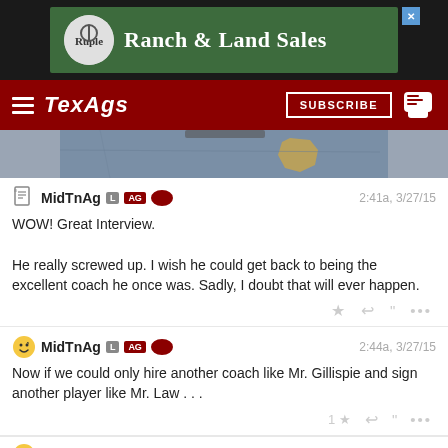[Figure (screenshot): Ruple Ranch & Land Sales advertisement banner on dark background]
TexAgs | SUBSCRIBE
[Figure (photo): Partial map image with Texas state outline]
MidTnAg  2:41a, 3/27/15
WOW! Great Interview.

He really screwed up. I wish he could get back to being the excellent coach he once was. Sadly, I doubt that will ever happen.
MidTnAg  2:44a, 3/27/15
Now if we could only hire another coach like Mr. Gillispie and sign another player like Mr. Law . . .
rjb0509  10:28a, 3/27/15
vwbug  11:06a, 3/27/15
I thought Coach G coaches soccer??